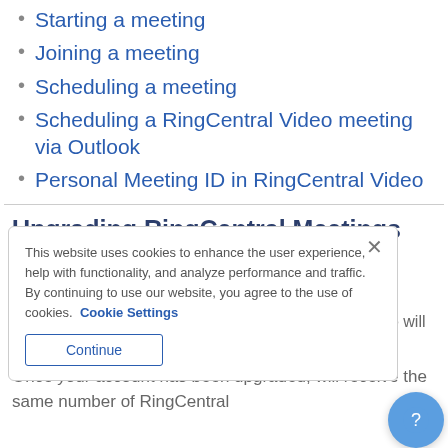Starting a meeting
Joining a meeting
Scheduling a meeting
Scheduling a RingCentral Video meeting via Outlook
Personal Meeting ID in RingCentral Video
Upgrading RingCentral Meetings Rooms to RingCentral Video Rooms
For those users with RingCentral Meetings Rooms, we will be migrating them over to RingCentral Video Rooms.
Once your account has been upgraded, will receive the same number of RingCentral
[Figure (screenshot): Cookie consent modal overlay with text: 'This website uses cookies to enhance the user experience, help with functionality, and analyze performance and traffic. By continuing to use our website, you agree to the use of cookies.' with Cookie Settings link and Continue button. An X close button is at top right. A blue help/chat bubble icon is at bottom right.]